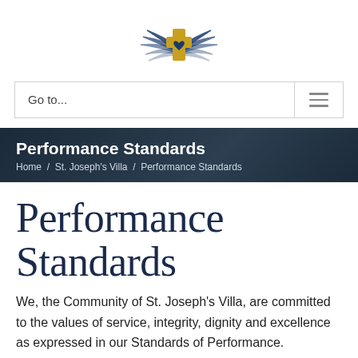[Figure (logo): St. Joseph's Villa logo: golden cross with medical symbol and blue wings]
Go to...
Performance Standards / Home / St. Joseph's Villa / Performance Standards
Performance Standards
We, the Community of St. Joseph's Villa, are committed to the values of service, integrity, dignity and excellence as expressed in our Standards of Performance.
All staff, students, volunteers, and physicians sign an oath of commitment to these performance standards. Our yearly performance reviews include evaluating their effectiveness in…